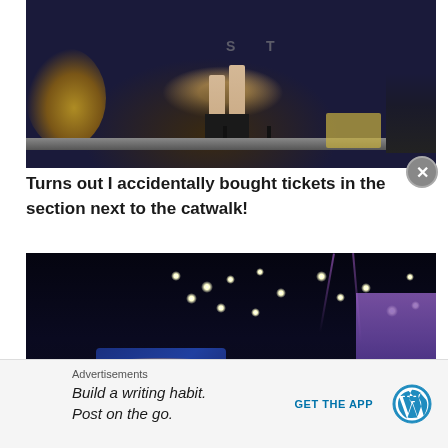[Figure (photo): Concert photo showing legs of a performer on a catwalk stage with audience visible, taken from a close angle next to the stage. Black boots with heels visible, blue stage lighting, audience member with long hair visible on left.]
Turns out I accidentally bought tickets in the section next to the catwalk!
[Figure (photo): Concert photo showing stage with multiple bright stage lights, a large screen showing the performer's face, and a purple/pink lit building backdrop on the right side.]
Advertisements
Build a writing habit. Post on the go.
GET THE APP